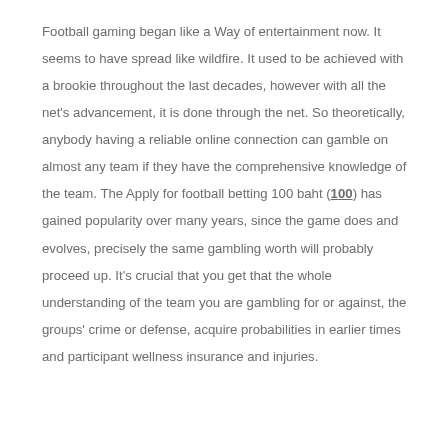Football gaming began like a Way of entertainment now. It seems to have spread like wildfire. It used to be achieved with a brookie throughout the last decades, however with all the net's advancement, it is done through the net. So theoretically, anybody having a reliable online connection can gamble on almost any team if they have the comprehensive knowledge of the team. The Apply for football betting 100 baht (___________100___) has gained popularity over many years, since the game does and evolves, precisely the same gambling worth will probably proceed up. It's crucial that you get that the whole understanding of the team you are gambling for or against, the groups' crime or defense, acquire probabilities in earlier times and participant wellness insurance and injuries.